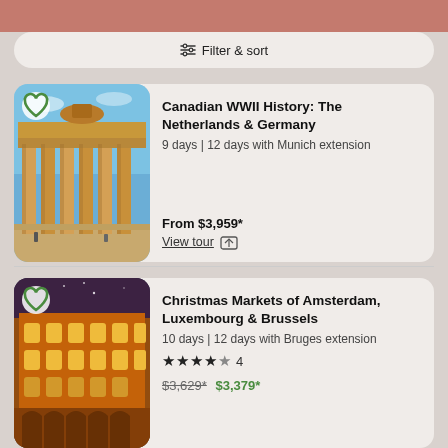Filter & sort
[Figure (photo): Photo of the Brandenburg Gate with classical columns and stone facade under a blue sky, representing a WWII history tour to The Netherlands & Germany]
Canadian WWII History: The Netherlands & Germany
9 days | 12 days with Munich extension
From $3,959*
View tour
[Figure (photo): Night photo of an illuminated ornate European building with golden-lit arched windows against a dark sky, representing Christmas Markets of Amsterdam, Luxembourg & Brussels]
Christmas Markets of Amsterdam, Luxembourg & Brussels
10 days | 12 days with Bruges extension
★★★★★ 4
From $3,629* $3,379*